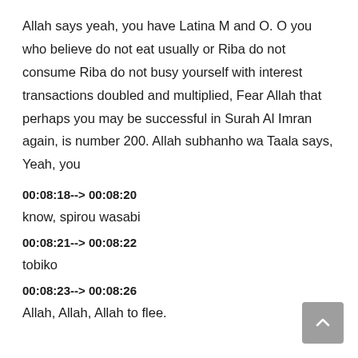Allah says yeah, you have Latina M and O. O you who believe do not eat usually or Riba do not consume Riba do not busy yourself with interest transactions doubled and multiplied, Fear Allah that perhaps you may be successful in Surah Al Imran again, is number 200. Allah subhanho wa Taala says, Yeah, you
00:08:18--> 00:08:20
know, spirou wasabi
00:08:21--> 00:08:22
tobiko
00:08:23--> 00:08:26
Allah, Allah, Allah to flee.